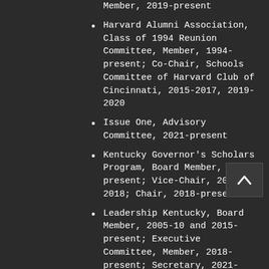Member, 2019-present
Harvard Alumni Association, Class of 1994 Reunion Committee, Member, 1994-present; Co-Chair, Schools Committee of Harvard Club of Cincinnati, 2015-2017, 2019-2020
Issue One, Advisory Committee, 2021-present
Kentucky Governor's Scholars Program, Board Member, 1999-present; Vice-Chair, 2015-2018; Chair, 2018-present
Leadership Kentucky, Board Member, 2005-10 and 2015-present; Executive Committee, Member, 2018-present; Secretary, 2021-present
National Council on Election Integrity, 2020-present
National Task Force on Election Crises, 2020-present
Secure Elections Project, Chair